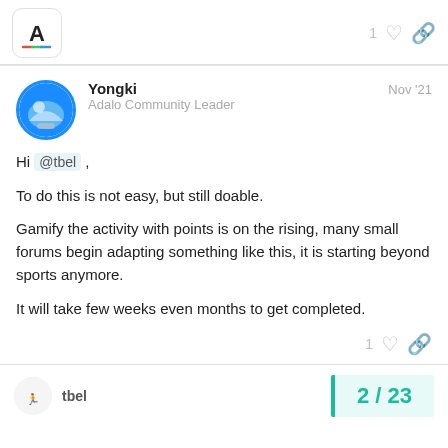[Figure (logo): Adalo app logo icon - white background with letter A in colorful style, in a rounded square border]
Yongki  Nov '21
Adalo Community Leader
Hi @tbel ,

To do this is not easy, but still doable.

Gamify the activity with points is on the rising, many small forums begin adapting something like this, it is starting beyond sports anymore.

It will take few weeks even months to get completed.
1 ♡ 🔗
tbel
2 / 23